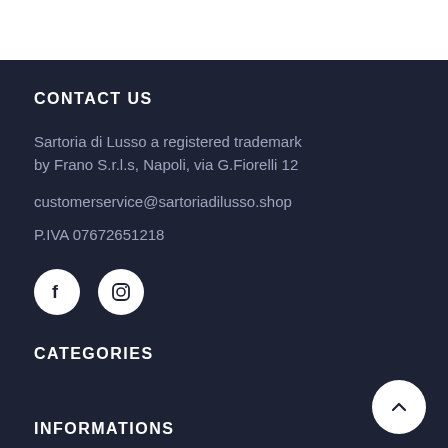CONTACT US
Sartoria di Lusso a registered trademark by Frano S.r.l.s, Napoli, via G.Fiorelli 12
customerservice@sartoriadilusso.shop
P.IVA 07672651218
[Figure (other): Social media icons: Facebook and Instagram circles]
CATEGORIES
INFORMATIONS